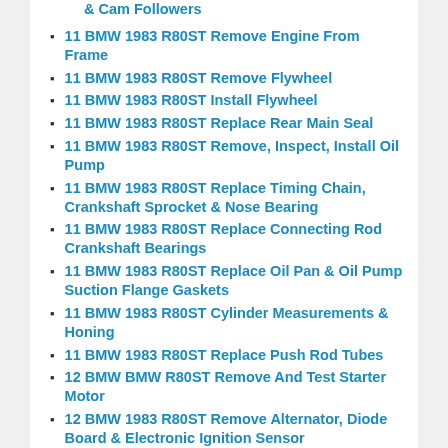& Cam Followers
11 BMW 1983 R80ST Remove Engine From Frame
11 BMW 1983 R80ST Remove Flywheel
11 BMW 1983 R80ST Install Flywheel
11 BMW 1983 R80ST Replace Rear Main Seal
11 BMW 1983 R80ST Remove, Inspect, Install Oil Pump
11 BMW 1983 R80ST Replace Timing Chain, Crankshaft Sprocket & Nose Bearing
11 BMW 1983 R80ST Replace Connecting Rod Crankshaft Bearings
11 BMW 1983 R80ST Replace Oil Pan & Oil Pump Suction Flange Gaskets
11 BMW 1983 R80ST Cylinder Measurements & Honing
11 BMW 1983 R80ST Replace Push Rod Tubes
12 BMW BMW R80ST Remove And Test Starter Motor
12 BMW 1983 R80ST Remove Alternator, Diode Board & Electronic Ignition Sensor